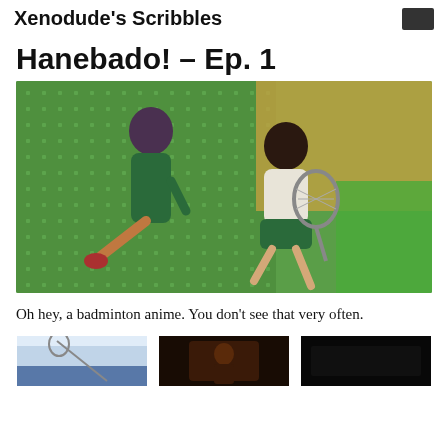Xenodude's Scribbles
Hanebado! – Ep. 1
[Figure (photo): Anime screenshot from Hanebado showing two female characters on a badminton court, one in a green uniform holding a racket, green dotted court background]
Oh hey, a badminton anime. You don't see that very often.
[Figure (photo): Small thumbnail: anime screenshot of badminton scene with racket visible, blue/white tones]
[Figure (photo): Small thumbnail: dark anime screenshot with character silhouette]
[Figure (photo): Small thumbnail: very dark anime screenshot]